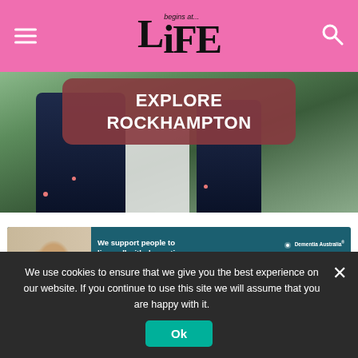begins at... LiFE (navigation header with hamburger menu and search icon)
[Figure (photo): Photo of people near livestock/horses with a dark mauve/maroon overlay box reading EXPLORE ROCKHAMPTON in bold white text]
[Figure (infographic): Dementia Australia advertisement banner: photo of two elderly women, text: We support people to live well with dementia. Call the National Dementia Helpline on 1800 100 500. Learn more button.]
We use cookies to ensure that we give you the best experience on our website. If you continue to use this site we will assume that you are happy with it.